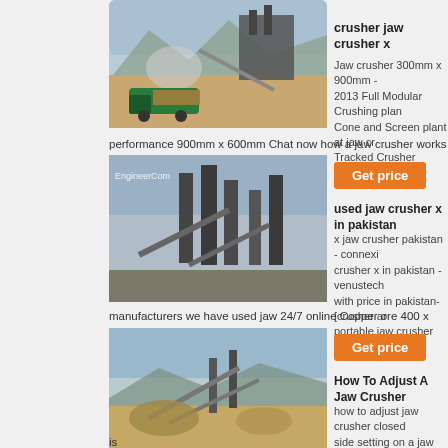[Figure (photo): Mining crushing plant with trucks and mountains in background]
crusher jaw crusher x
Jaw crusher 300mm x 900mm - 2013 Full Modular Crushing plant Cone and Screen plant at jaw cr Tracked Crusher Range has bee performance 900mm x 600mm Chat now how a jaw crusher works and what
[Figure (photo): Industrial crushing plant facility with conveyor belts and steel structures, EngineerCom watermark]
Get price
used jaw crusher x in pakistan
x jaw crusher pakistan - connexi crusher x in pakistan - venustech with price in pakistan-[crusher ar portable jaw crusher for sale ZEN manufacturers we have used jaw 24/7 online Copper ore 400 x 600 jaw crus
[Figure (photo): Open-air aggregate processing plant with conveyors and stockpiles]
Get price
How To Adjust A Jaw Crusher
how to adjust jaw crusher closed side setting on a jaw crusher how jaw crusher - Grinding Jaw crush materials processing of mining co is